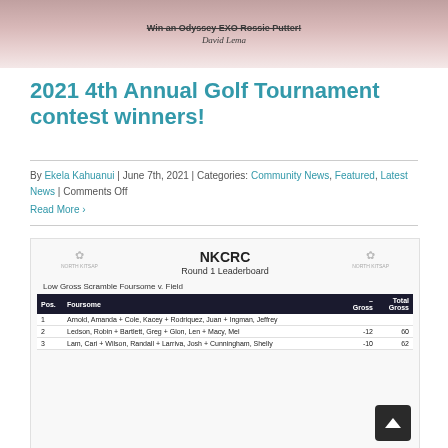[Figure (photo): Top portion of a golf article header image showing blurred golf balls in background with text 'Win an Odyssey EXO Rossie Putter!' crossed out and italic text 'David Lema' below]
2021 4th Annual Golf Tournament contest winners!
By Ekela Kahuanui | June 7th, 2021 | Categories: Community News, Featured, Latest News | Comments Off
Read More ›
[Figure (screenshot): NKCRC Round 1 Leaderboard showing Low Gross Scramble Foursome v. Field table with positions, foursomes, scores. Row 1: Arnold, Amanda + Cole, Kacey + Rodriquez, Juan + Ingman, Jeffrey; Row 2: Ledson, Robin + Bartlett, Greg + Glon, Len + Macy, Mel, -12, 60; Row 3: Lam, Cari + Wilson, Randall + Larriva, Josh + Cunningham, Shelly, -10, 62]